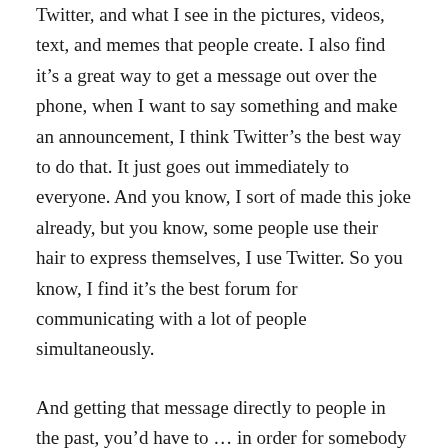Twitter, and what I see in the pictures, videos, text, and memes that people create. I also find it's a great way to get a message out over the phone, when I want to say something and make an announcement, I think Twitter's the best way to do that. It just goes out immediately to everyone. And you know, I sort of made this joke already, but you know, some people use their hair to express themselves, I use Twitter. So you know, I find it's the best forum for communicating with a lot of people simultaneously.
And getting that message directly to people in the past, you'd have to … in order for somebody to read about something, you have to issue a press release, and then you'd hope that the regular media would write about the press release. And then they wouldn't write about it in quite the way you'd like to write about it. I always find those like, the old-style press releases kind of, really quite strange because you're writing a press release about